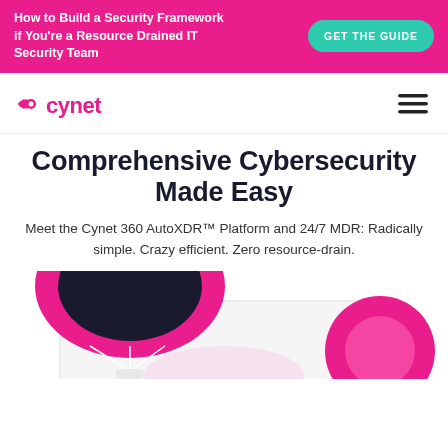How to Build a Security Framework if You're a Resource Drained IT Security Team  GET THE GUIDE
[Figure (logo): Cynet logo with pink eye icon and pink text 'cynet', plus hamburger menu icon on the right]
Comprehensive Cybersecurity Made Easy
Meet the Cynet 360 AutoXDR™ Platform and 24/7 MDR: Radically simple. Crazy efficient. Zero resource-drain.
[Figure (illustration): Partial illustration showing a pink parachute figure with dark helmet, pink and white decorative shapes at bottom of page]